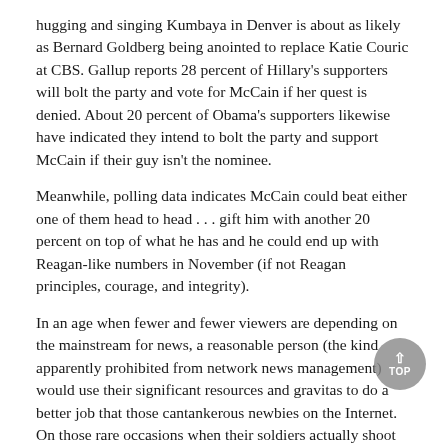hugging and singing Kumbaya in Denver is about as likely as Bernard Goldberg being anointed to replace Katie Couric at CBS. Gallup reports 28 percent of Hillary’s supporters will bolt the party and vote for McCain if her quest is denied. About 20 percent of Obama’s supporters likewise have indicated they intend to bolt the party and support McCain if their guy isn’t the nominee.
Meanwhile, polling data indicates McCain could beat either one of them head to head . . . gift him with another 20 percent on top of what he has and he could end up with Reagan-like numbers in November (if not Reagan principles, courage, and integrity).
In an age when fewer and fewer viewers are depending on the mainstream for news, a reasonable person (the kind apparently prohibited from network news management) would use their significant resources and gravitas to do a better job that those cantankerous newbies on the Internet. On those rare occasions when their soldiers actually shoot straight, instead of hanging their heads and shuffling their feet, they would respond with more substance, more hard questions, more accountability, and more, well, more.
© 2022 Newsmax. All rights reserved.